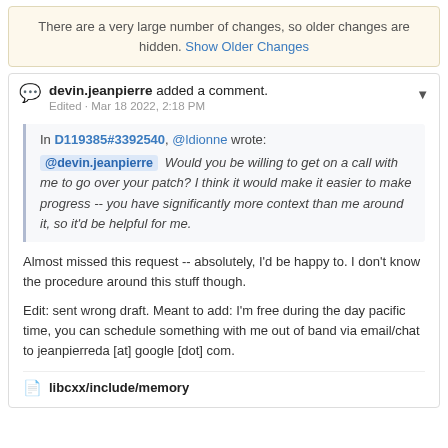There are a very large number of changes, so older changes are hidden. Show Older Changes
devin.jeanpierre added a comment. Edited · Mar 18 2022, 2:18 PM
In D119385#3392540, @ldionne wrote:
@devin.jeanpierre Would you be willing to get on a call with me to go over your patch? I think it would make it easier to make progress -- you have significantly more context than me around it, so it'd be helpful for me.
Almost missed this request -- absolutely, I'd be happy to. I don't know the procedure around this stuff though.
Edit: sent wrong draft. Meant to add: I'm free during the day pacific time, you can schedule something with me out of band via email/chat to jeanpierreda [at] google [dot] com.
libcxx/include/memory